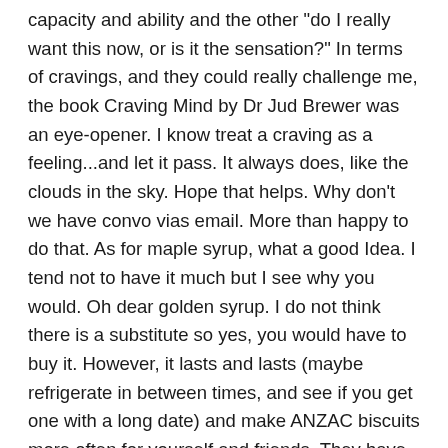capacity and ability and the other "do I really want this now, or is it the sensation?" In terms of cravings, and they could really challenge me, the book Craving Mind by Dr Jud Brewer was an eye-opener. I know treat a craving as a feeling...and let it pass. It always does, like the clouds in the sky. Hope that helps. Why don't we have convo vias email. More than happy to do that. As for maple syrup, what a good Idea. I tend not to have it much but I see why you would. Oh dear golden syrup. I do not think there is a substitute so yes, you would have to buy it. However, it lasts and lasts (maybe refrigerate in between times, and see if you get one with a long date) and make ANZAC biscuits more often for yourself and friends. They have quite a range of foods that are helpful in them as well! Bonus